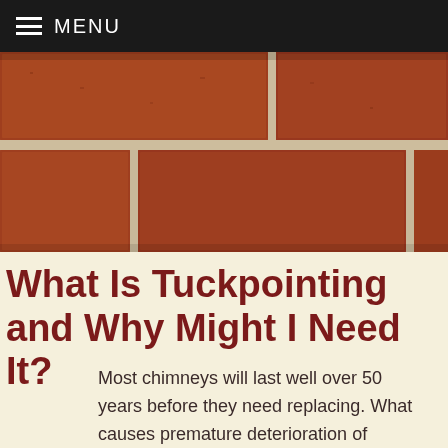MENU
[Figure (photo): Close-up photograph of red brick wall with grey mortar joints]
What Is Tuckpointing and Why Might I Need It?
Most chimneys will last well over 50 years before they need replacing. What causes premature deterioration of chimneys is not the bricks, but the mortar holding together bricks. Less durable than cement or concrete, mortar consists of pulverized sand, water, lime, and cement. Unlike brick, mortar is susceptible to environmental damage over the years. Seasonal temperature changes, rain, snow, and ice causes the